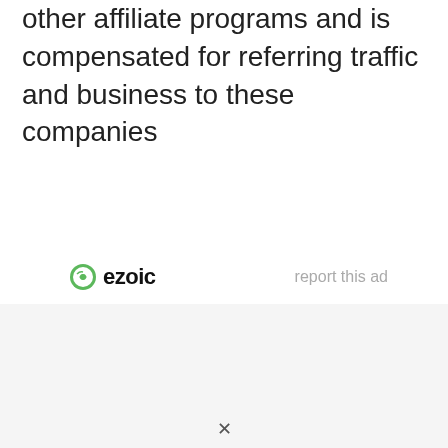other affiliate programs and is compensated for referring traffic and business to these companies
[Figure (logo): Ezoic logo with green circular icon and bold 'ezoic' wordmark, alongside 'report this ad' link text]
×